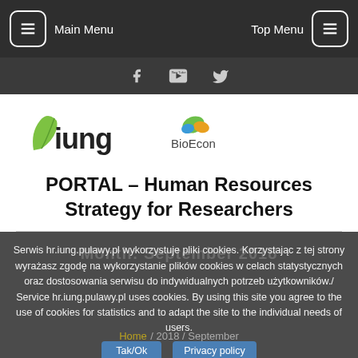Main Menu   Top Menu
[Figure (screenshot): Social icons bar with Facebook, YouTube, and Twitter icons]
[Figure (logo): IUNG logo (green leaf with 'iung' text) and BioEcon logo]
PORTAL – Human Resources Strategy for Researchers
Serwis hr.iung.pulawy.pl wykorzystuje pliki cookies. Korzystając z tej strony wyrażasz zgodę na wykorzystanie plików cookies w celach statystycznych oraz dostosowania serwisu do indywidualnych potrzeb użytkowników./ Service hr.iung.pulawy.pl uses cookies. By using this site you agree to the use of cookies for statistics and to adapt the site to the individual needs of users.
Tak/Ok   Privacy policy